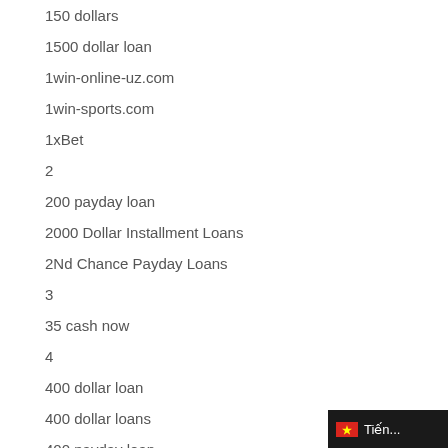150 dollars
1500 dollar loan
1win-online-uz.com
1win-sports.com
1xBet
2
200 payday loan
2000 Dollar Installment Loans
2Nd Chance Payday Loans
3
35 cash now
4
400 dollar loan
400 dollar loans
400 payday loan